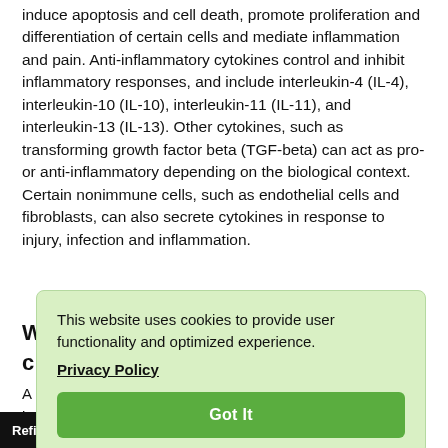induce apoptosis and cell death, promote proliferation and differentiation of certain cells and mediate inflammation and pain. Anti-inflammatory cytokines control and inhibit inflammatory responses, and include interleukin-4 (IL-4), interleukin-10 (IL-10), interleukin-11 (IL-11), and interleukin-13 (IL-13). Other cytokines, such as transforming growth factor beta (TGF-beta) can act as pro- or anti-inflammatory depending on the biological context. Certain nonimmune cells, such as endothelial cells and fibroblasts, can also secrete cytokines in response to injury, infection and inflammation.
W... Gentek c...
A... 0 i... to e... hat they ... y of other ... mors in terms of affordability
[Figure (screenshot): Cookie consent popup overlay with light green background. Contains text 'This website uses cookies to provide user functionality and optimized experience.' followed by a 'Privacy Policy' bold underlined link, and a green 'Got It' button.]
Refine Your Results